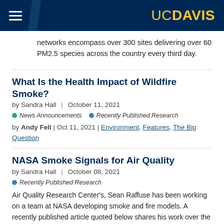UC DAVIS
networks encompass over 300 sites delivering over 60 PM2.5 species across the country every third day.
What Is the Health Impact of Wildfire Smoke?
by Sandra Hall  |  October 11, 2021
News Announcements   Recently Published Research
by Andy Fell | Oct 11, 2021 | Environment, Features, The Big Question
NASA Smoke Signals for Air Quality
by Sandra Hall  |  October 08, 2021
Recently Published Research
Air Quality Research Center's, Sean Raffuse has been working on a team at NASA developing smoke and fire models. A recently published article quoted below shares his work over the past few years.